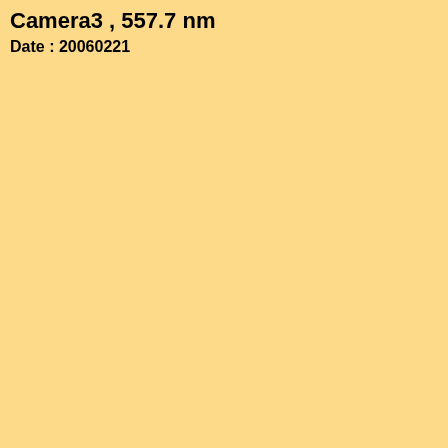Camera3 , 557.7 nm
Date : 20060221
Click figure to enlarge
Came...
Came...
Came...
Came...
Came...
Came...
Came...
Came...
Came...
Came...
Came...
TILTI...
TILTI...
TILTI...
Fabry-...
Fabry-...
Airglo...
Airglo...
Airglo...
Airglo...
Airglo...
Airglo...